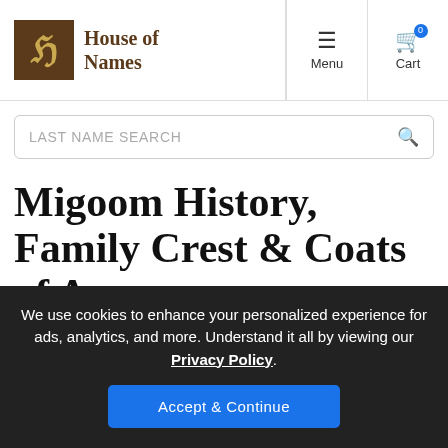House of Names — Menu | Cart
LAST NAME SEARCH
Migoom History, Family Crest & Coats of Arms
Origins Available: England
We use cookies to enhance your personalized experience for ads, analytics, and more. Understand it all by viewing our Privacy Policy. Accept & Continue